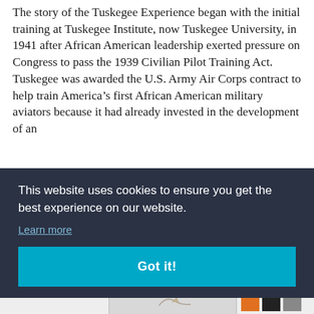The story of the Tuskegee Experience began with the initial training at Tuskegee Institute, now Tuskegee University, in 1941 after African American leadership exerted pressure on Congress to pass the 1939 Civilian Pilot Training Act. Tuskegee was awarded the U.S. Army Air Corps contract to help train America's first African American military aviators because it had already invested in the development of an [aviation program, producing the highest ...] Tuskegee.
[Figure (screenshot): Cookie consent overlay banner with dark navy background containing text 'This website uses cookies to ensure you get the best experience on our website.', a 'Learn more' underlined link, and a teal 'Got it!' button.]